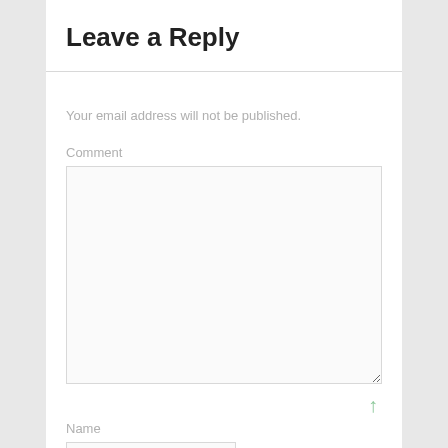Leave a Reply
Your email address will not be published.
Comment
Name